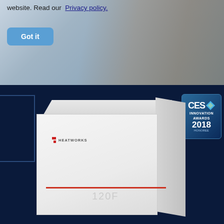website. Read our  Privacy policy.
[Figure (screenshot): A 'Got it' button with rounded corners on a blue-grey background with an animal/water background image]
[Figure (photo): Heatworks white water heater appliance on a dark navy blue background with a CES Innovation Awards 2018 badge in the upper right corner. The device displays '120F' at the bottom.]